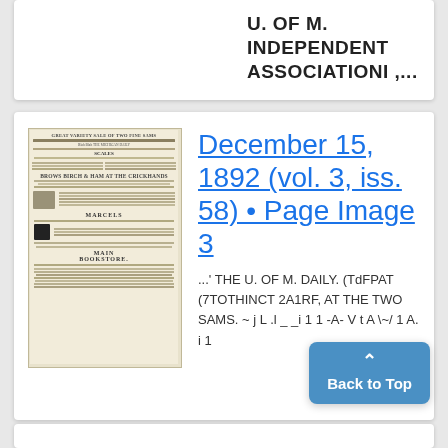U. OF M. INDEPENDENT ASSOCIATIONI ,...
[Figure (photo): Thumbnail image of a historical newspaper page from December 15, 1892]
December 15, 1892 (vol. 3, iss. 58) • Page Image 3
...' THE U. OF M. DAILY. (TdFPAT (7TOTHINCT 2A1RF, AT THE TWO SAMS. ~ j L .l _ _i 1 1 -A- V t A \~/ 1 A. i 1